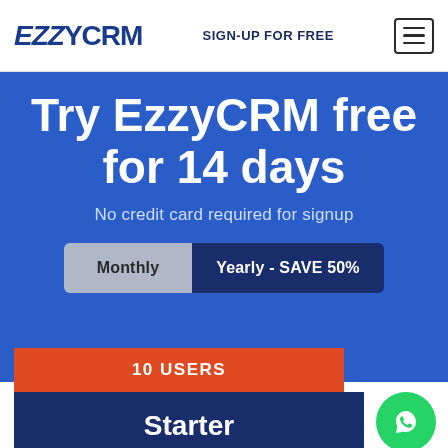EZZYCRM | SIGN-UP FOR FREE
Try EzzyCRM free for 14 days
No credit card required for signup
Monthly | Yearly - SAVE 50%
10 USERS
Starter
USD $2.99 / month